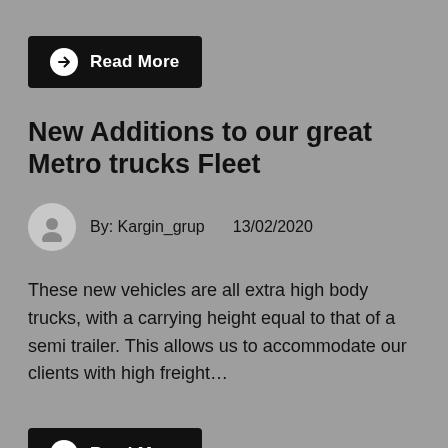[Figure (other): Read More button with arrow icon on black background]
New Additions to our great Metro trucks Fleet
By: Kargin_grup    13/02/2020
These new vehicles are all extra high body trucks, with a carrying height equal to that of a semi trailer. This allows us to accommodate our clients with high freight…
[Figure (other): Read More button with arrow icon on black background]
Cargo flow through better supply chain